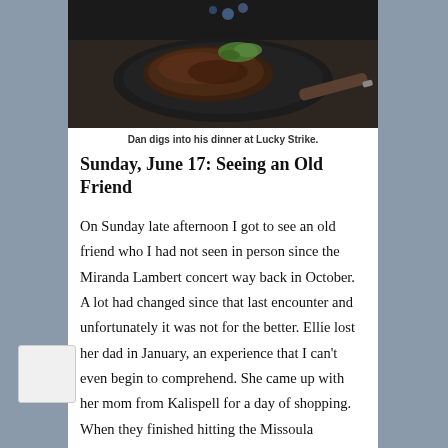[Figure (photo): Food photo showing meat in a cast iron skillet with a wooden-handled utensil, dark moody top-down shot]
Dan digs into his dinner at Lucky Strike.
Sunday, June 17: Seeing an Old Friend
On Sunday late afternoon I got to see an old friend who I had not seen in person since the Miranda Lambert concert way back in October. A lot had changed since that last encounter and unfortunately it was not for the better. Ellie lost her dad in January, an experience that I can't even begin to comprehend. She came up with her mom from Kalispell for a day of shopping. When they finished hitting the Missoula shopping spots, they invited me out to one of my favorite